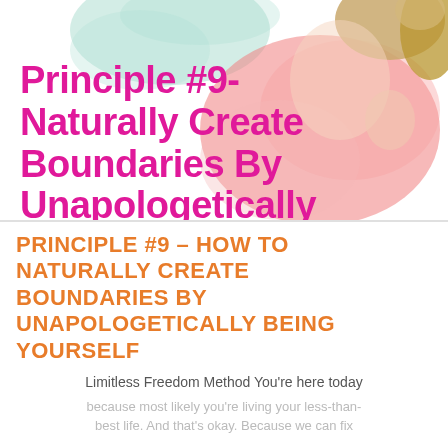[Figure (illustration): Watercolor-style illustration of a person's face/head with pink and teal paint splashes. Bold magenta text overlay reads 'Principle #9- Naturally Create Boundaries By Unapologetically']
PRINCIPLE #9 – HOW TO NATURALLY CREATE BOUNDARIES BY UNAPOLOGETICALLY BEING YOURSELF
Limitless Freedom Method You're here today because most likely you're living your less-than-best life. And that's okay. Because we can fix